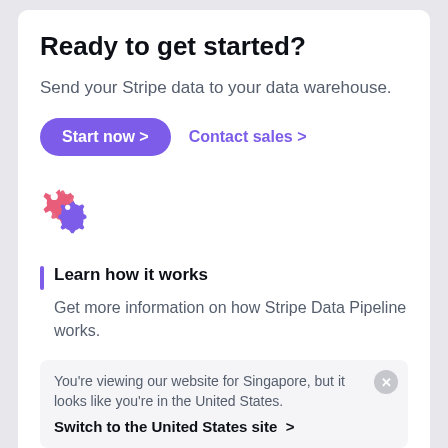Ready to get started?
Send your Stripe data to your data warehouse.
Start now > Contact sales >
[Figure (illustration): Two overlapping gear icons, one pink/red and one purple, representing integrations or automation.]
Learn how it works
Get more information on how Stripe Data Pipeline works.
You're viewing our website for Singapore, but it looks like you're in the United States.
Switch to the United States site >